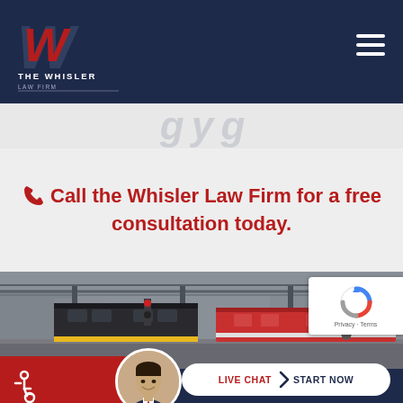[Figure (logo): The Whisler Law Firm logo — stylized W in red and navy with text 'THE WHISLER LAW FIRM' below]
Call the Whisler Law Firm for a free consultation today.
[Figure (photo): Train station photograph showing a commuter train at a platform with overhead gantries and signal equipment]
[Figure (logo): reCAPTCHA badge showing logo and Privacy/Terms links]
[Figure (photo): Circular avatar photo of a smiling male attorney in a suit]
LIVE CHAT  START NOW
[Figure (infographic): Wheelchair accessibility icon]